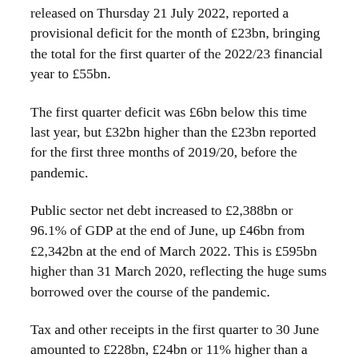released on Thursday 21 July 2022, reported a provisional deficit for the month of £23bn, bringing the total for the first quarter of the 2022/23 financial year to £55bn.
The first quarter deficit was £6bn below this time last year, but £32bn higher than the £23bn reported for the first three months of 2019/20, before the pandemic.
Public sector net debt increased to £2,388bn or 96.1% of GDP at the end of June, up £46bn from £2,342bn at the end of March 2022. This is £595bn higher than 31 March 2020, reflecting the huge sums borrowed over the course of the pandemic.
Tax and other receipts in the first quarter to 30 June amounted to £228bn, £24bn or 11% higher than a year previously. This included higher income tax receipts from…